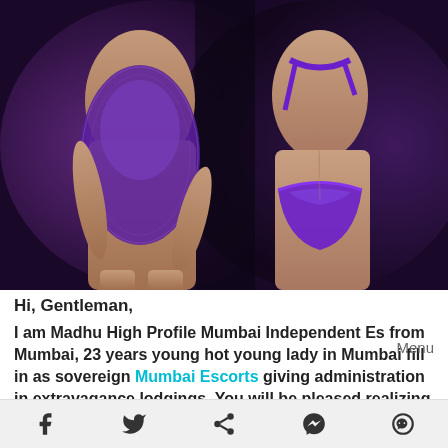[Figure (photo): Two women in purple lingerie, one wearing a lace babydoll facing front, one in a purple bikini set facing back]
Hi, Gentleman,
I am Madhu High Profile Mumbai Independent Es from Mumbai, 23 years young hot young lady in Mumbai fill in as sovereign Mumbai Escorts giving administration in extravagance lodgings. You will be pleased realizing that I am put onward you with my
Menu
[Figure (other): Footer social sharing bar with Facebook, Twitter, Share, Messenger, and WeChat icons]